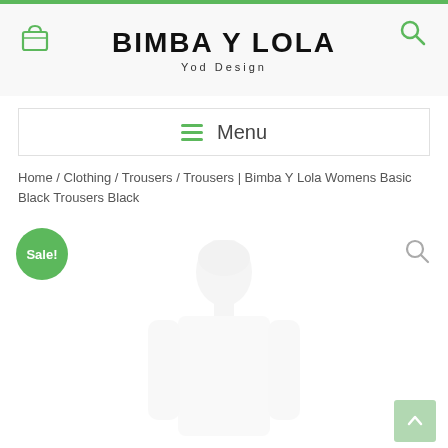BIMBA Y LOLA — Yod Design
≡ Menu
Home / Clothing / Trousers / Trousers | Bimba Y Lola Womens Basic Black Trousers Black
[Figure (photo): Product page screenshot showing a woman model wearing white top, with a Sale! badge, search icon, and scroll-to-top button]
Sale!